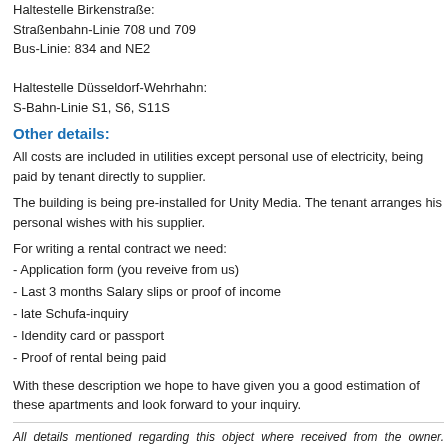Haltestelle Birkenstraße:
Straßenbahn-Linie 708 und 709
Bus-Linie: 834 and NE2

Haltestelle Düsseldorf-Wehrhahn:
S-Bahn-Linie S1, S6, S11S
Other details:
All costs are included in utilities except personal use of electricity, being paid by tenant directly to supplier.
The building is being pre-installed for Unity Media. The tenant arranges his personal wishes with his supplier.
For writing a rental contract we need:
- Application form (you reveive from us)
- Last 3 months Salary slips or proof of income
- late Schufa-inquiry
- Idendity card or passport
- Proof of rental being paid
With these description we hope to have given you a good estimation of these apartments and look forward to your inquiry.
All details mentioned regarding this object where received from the owner. Therefore, we cannot accept any liability for size, quality and condition, completeness of the information or for any error. The owners right to sell or let the object remains unchallenged at any time.
If you have questions regarding this object,